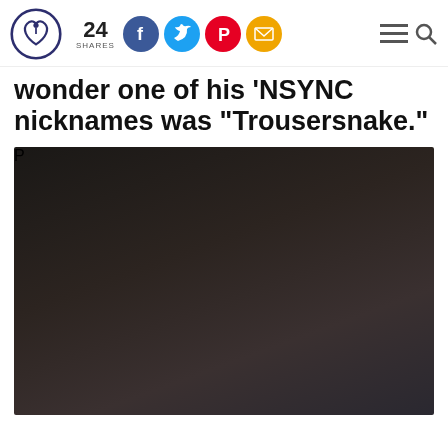24 SHARES — social sharing bar with Facebook, Twitter, Pinterest, Email icons
wonder one of his 'NSYNC nicknames was "Trousersnake."
[Figure (photo): Man smiling at camera, brown hair, wearing dark jacket over checkered shirt, event/press conference setting, another person visible in background]